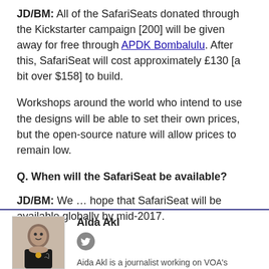JD/BM: All of the SafariSeats donated through the Kickstarter campaign [200] will be given away for free through APDK Bombalulu. After this, SafariSeat will cost approximately £130 [a bit over $158] to build.
Workshops around the world who intend to use the designs will be able to set their own prices, but the open-source nature will allow prices to remain low.
Q. When will the SafariSeat be available?
JD/BM: We … hope that SafariSeat will be available globally by mid-2017.
[Figure (photo): Portrait photo of author Aida Akl]
Aida Akl
Aida Akl is a journalist working on VOA's English